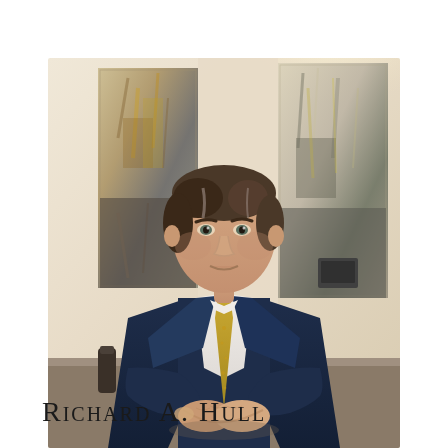[Figure (photo): Professional headshot of Richard A. Hull, a man in a dark navy suit with a gold/yellow tie and white dress shirt, seated at a desk with hands clasped, looking slightly upward. Abstract artwork visible in background.]
Richard A. Hull